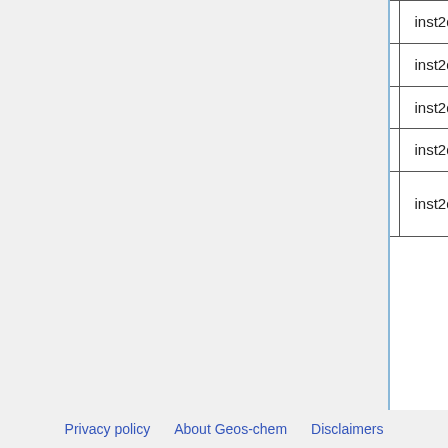| Name | Description | Units | File |
| --- | --- | --- | --- |
| LWI | water / ice flags | unitless | inst2d_me... |
| PS | 2-D surface pressure | hPa | inst2d_me... |
| SLP | 2-D sea level pressure | hPa | inst2d_me... |
| TO3 | 2-D total ozone column | DU | inst2d_me... |
| TTO3 | 2-D total tropospheric ozone column | DU | inst2d_me... |
--Bob Y. 15:47, 7 February 2012 (EST)
Privacy policy   About Geos-chem   Disclaimers